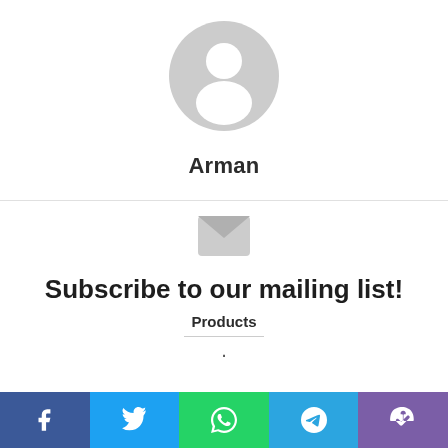[Figure (illustration): Generic user avatar: grey circle with a white person silhouette (head and shoulders)]
Arman
[Figure (illustration): Grey envelope/mail icon]
Subscribe to our mailing list!
Products
.
[Figure (infographic): Social sharing bar with five buttons: Facebook (blue), Twitter (light blue), WhatsApp (green), Telegram (blue), Viber (purple)]